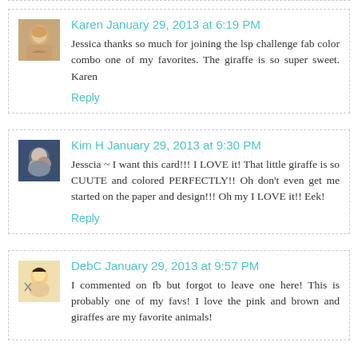Karen January 29, 2013 at 6:19 PM
Jessica thanks so much for joining the lsp challenge fab color combo one of my favorites. The giraffe is so super sweet. Karen
Reply
Kim H January 29, 2013 at 9:30 PM
Jesscia ~ I want this card!!! I LOVE it! That little giraffe is so CUUTE and colored PERFECTLY!! Oh don't even get me started on the paper and design!!! Oh my I LOVE it!! Eek!
Reply
DebC January 29, 2013 at 9:57 PM
I commented on fb but forgot to leave one here! This is probably one of my favs! I love the pink and brown and giraffes are my favorite animals!